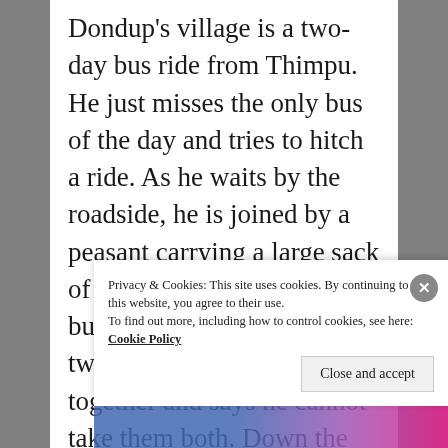Dondup's village is a two-day bus ride from Thimpu.  He just misses the only bus of the day and tries to hitch a ride.   As he waits by the roadside, he is joined by a peasant carrying a large sack of apples; a vehicle pulls up, but the driver assumes the two men are traveling together and says he cannot take them both.  Down the winding mountain road comes, a short while
Privacy & Cookies: This site uses cookies.  By continuing to use this website, you agree to their use.
To find out more, including how to control cookies, see here: Cookie Policy
Close and accept